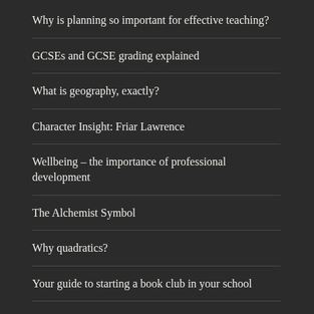Why is planning so important for effective teaching?
GCSEs and GCSE grading explained
What is geography, exactly?
Character Insight: Friar Lawrence
Wellbeing – the importance of professional development
The Alchemist Symbol
Why quadratics?
Your guide to starting a book club in your school
Take reading to the next level: How Oxford Levels promotes progress